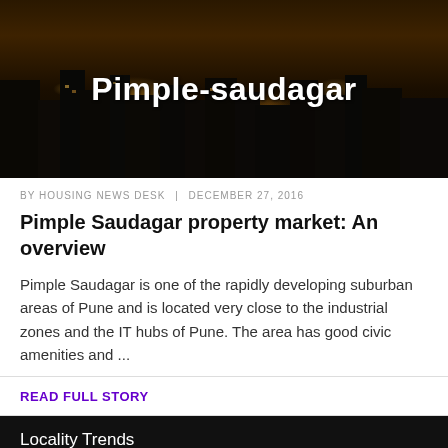[Figure (photo): Night cityscape/skyline photo with orange lights and dark buildings, with 'Pimple-saudagar' text overlay in white bold font]
BY HOUSING NEWS DESK | DECEMBER 27, 2016
Pimple Saudagar property market: An overview
Pimple Saudagar is one of the rapidly developing suburban areas of Pune and is located very close to the industrial zones and the IT hubs of Pune. The area has good civic amenities and ...
READ FULL STORY
Locality Trends